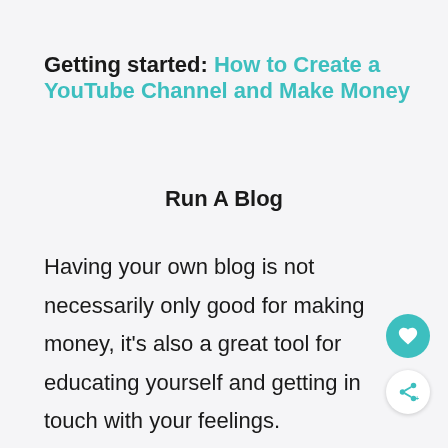Getting started: How to Create a YouTube Channel and Make Money
Run A Blog
Having your own blog is not necessarily only good for making money, it's also a great tool for educating yourself and getting in touch with your feelings.